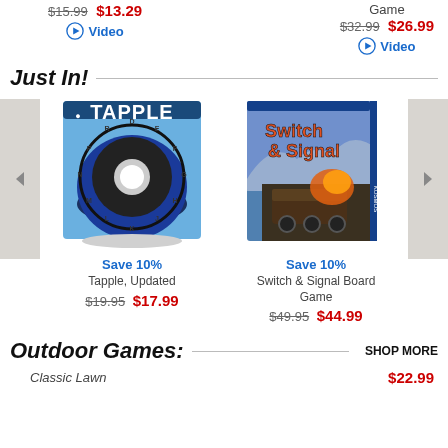$15.99  $13.29 — Video
Game
$32.99  $26.99 — Video
Just In!
[Figure (photo): Tapple board game box — a circular letter wheel game with blue styling]
Save 10%
Tapple, Updated
$19.95  $17.99
[Figure (photo): Switch & Signal Board Game box — train themed strategy game by KOSMOS publisher]
Save 10%
Switch & Signal Board Game
$49.95  $44.99
Outdoor Games:
SHOP MORE
Classic Lawn  $22.99